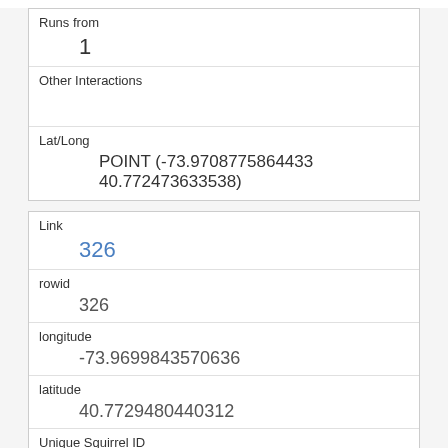| Runs from | 1 |
| Other Interactions |  |
| Lat/Long | POINT (-73.9708775864433 40.772473633538) |
| Link | 326 |
| rowid | 326 |
| longitude | -73.9699843570636 |
| latitude | 40.7729480440312 |
| Unique Squirrel ID | 10G-AM-1006-01 |
| Hectare | 10G |
| Shift | AM |